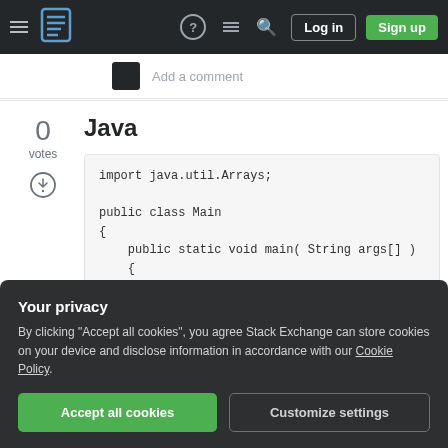Stack Exchange navigation bar with hamburger menu, logo, help, inbox, search, Log in, Sign up buttons
Add a comment
Java
0 votes
import java.util.Arrays;

public class Main
{
    public static void main( String args[] )
    {
        StringBuilder sb = new StringBuilder
        sb.append("x");
Your privacy
By clicking "Accept all cookies", you agree Stack Exchange can store cookies on your device and disclose information in accordance with our Cookie Policy.
Accept all cookies    Customize settings
sb.append(sb.toString());